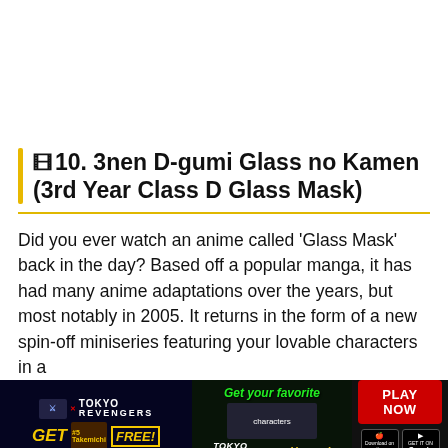🎞 10. 3nen D-gumi Glass no Kamen (3rd Year Class D Glass Mask)
Did you ever watch an anime called 'Glass Mask' back in the day? Based off a popular manga, it has had many anime adaptations over the years, but most notably in 2005. It returns in the form of a new spin-off miniseries featuring your lovable characters in a
[Figure (screenshot): Advertisement banner for Tokyo Revengers game featuring characters, 'Get your favorite Heroes!' text, Play Now button, and App Store/Google Play download buttons.]
and actresses, to warm up the cold hearts of people